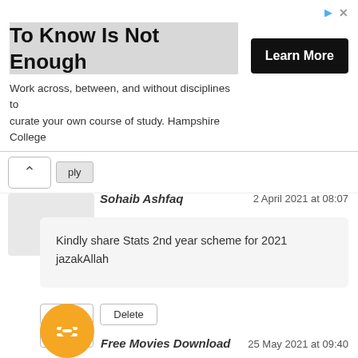[Figure (screenshot): Advertisement banner: 'To Know Is Not Enough' with Learn More button]
ply
Sohaib Ashfaq
2 April 2021 at 08:07
Kindly share Stats 2nd year scheme for 2021 jazakAllah
Reply  Delete  Reply
Free Movies Download
25 May 2021 at 09:40